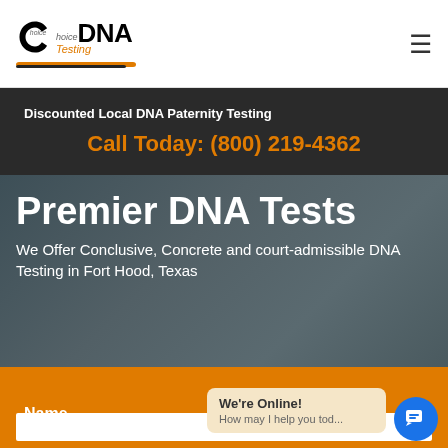[Figure (logo): Choice DNA Testing logo with stylized C circle, bold DNA text, and orange underline]
Discounted Local DNA Paternity Testing
Call Today: (800) 219-4362
Premier DNA Tests
We Offer Conclusive, Concrete and court-admissible DNA Testing in Fort Hood, Texas
Name
We're Online! How may I help you tod...